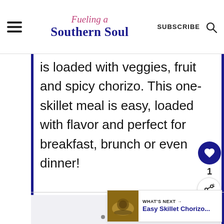Fueling a Southern Soul | SUBSCRIBE
is loaded with veggies, fruit and spicy chorizo. This one-skillet meal is easy, loaded with flavor and perfect for breakfast, brunch or even dinner!
[Figure (photo): Food image area (image carousel with dot indicators)]
WHAT'S NEXT → Easy Skillet Chorizo...